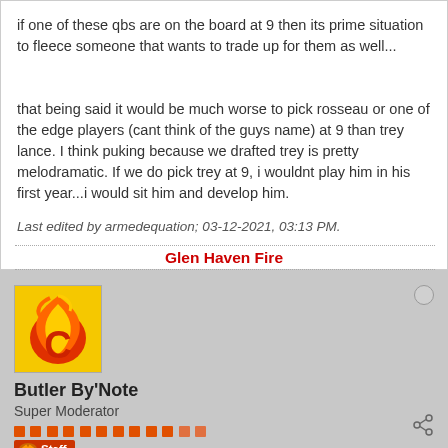if one of these qbs are on the board at 9 then its prime situation to fleece someone that wants to trade up for them as well...
that being said it would be much worse to pick rosseau or one of the edge players (cant think of the guys name) at 9 than trey lance. I think puking because we drafted trey is pretty melodramatic. If we do pick trey at 9, i wouldnt play him in his first year...i would sit him and develop him.
Last edited by armedequation; 03-12-2021, 03:13 PM.
Glen Haven Fire
[Figure (illustration): Calgary Flames hockey team logo - red and orange flame with yellow C letter]
Butler By'Note
Super Moderator
Staff badge with Broncos logo
Join Date: Dec 2008   Posts: 15870